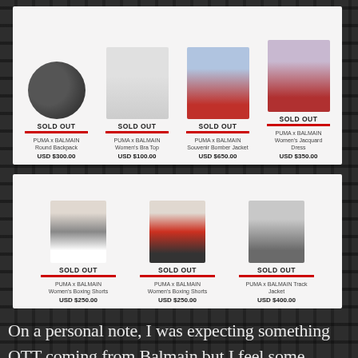[Figure (screenshot): Product grid screenshot showing PUMA x BALMAIN items all marked SOLD OUT. Top row: Round Backpack USD $300.00, Women's Bra Top USD $100.00, Souvenir Bomber Jacket USD $650.00, Women's Jacquard Dress USD $350.00. Bottom row: Women's Boxing Shorts USD $250.00, Women's Boxing Shorts USD $250.00, Track Jacket USD $400.00.]
On a personal note, I was expecting something OTT coming from Balmain but I feel some pieces are just basics ensembling Olivier Rousteing's